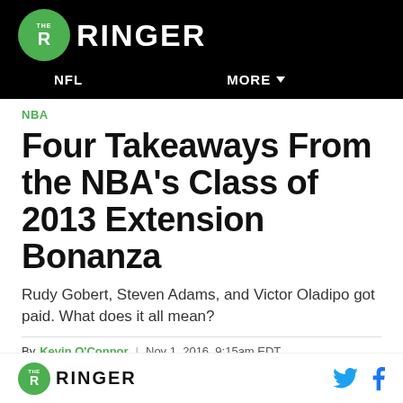THE RINGER — NFL | MORE
NBA
Four Takeaways From the NBA's Class of 2013 Extension Bonanza
Rudy Gobert, Steven Adams, and Victor Oladipo got paid. What does it all mean?
By Kevin O'Connor | Nov 1, 2016, 9:15am EDT
THE RINGER